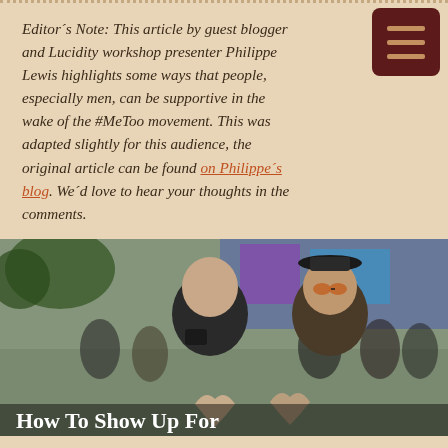Editor's Note: This article by guest blogger and Lucidity workshop presenter Philippe Lewis highlights some ways that people, especially men, can be supportive in the wake of the #MeToo movement. This was adapted slightly for this audience, the original article can be found on Philippe's blog. We'd love to hear your thoughts in the comments.
[Figure (photo): Two men at a crowded outdoor festival smiling and making heart shapes with their hands. The man on the left wears a black shirt with a camera; the man on the right wears a hat and heart-shaped sunglasses. A colorful festival crowd is visible in the background.]
How To Show Up For